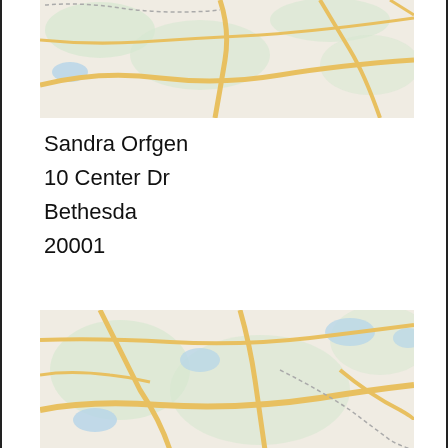[Figure (map): Street map thumbnail showing roads and terrain near Bethesda area, top portion]
Sandra Orfgen
10 Center Dr
Bethesda
20001
View Details
[Figure (map): Street map thumbnail showing roads and terrain near Bethesda area, bottom portion]